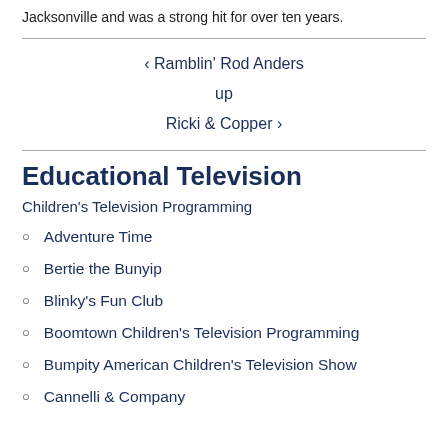Jacksonville and was a strong hit for over ten years.
‹ Ramblin' Rod Anders
up
Ricki & Copper ›
Educational Television
Children's Television Programming
Adventure Time
Bertie the Bunyip
Blinky's Fun Club
Boomtown Children's Television Programming
Bumpity American Children's Television Show
Cannelli & Company